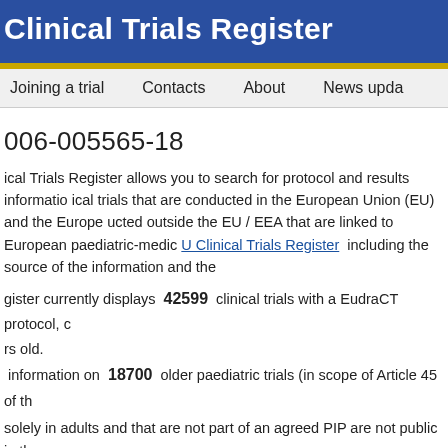Clinical Trials Register
Joining a trial   Contacts   About   News upda
006-005565-18
ical Trials Register allows you to search for protocol and results informatio ical trials that are conducted in the European Union (EU) and the Europe ucted outside the EU / EEA that are linked to European paediatric-medic U Clinical Trials Register  including the source of the information and the
gister currently displays  42599  clinical trials with a EudraCT protocol, c rs old.
 information on  18700  older paediatric trials (in scope of Article 45 of th
solely in adults and that are not part of an agreed PIP are not public in th Commission Guideline 2012/C 302/03,  Art. 5) .
"Trial now transitioned" were transitioned to the Clinical Trial Regulation 5